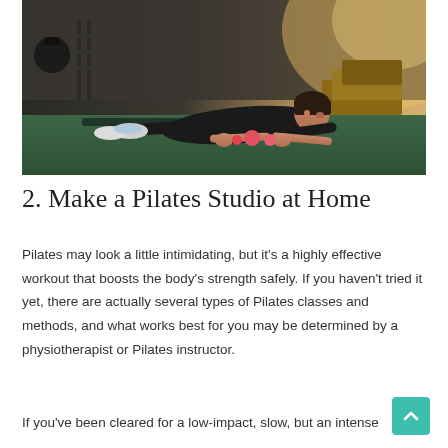[Figure (photo): A woman doing a plank exercise on a green gym floor in a fitness studio, wearing black workout clothes, with gym equipment visible in the background.]
2. Make a Pilates Studio at Home
Pilates may look a little intimidating, but it’s a highly effective workout that boosts the body’s strength safely. If you haven’t tried it yet, there are actually several types of Pilates classes and methods, and what works best for you may be determined by a physiotherapist or Pilates instructor.
If you’ve been cleared for a low-impact, slow, but an intense